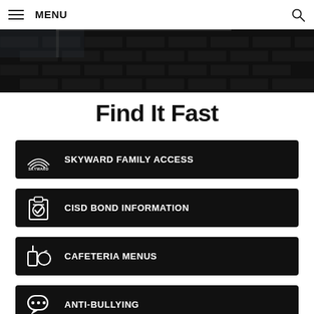MENU
[Figure (photo): Dark background photo of a brick building with glass railing]
Find It Fast
SKYWARD FAMILY ACCESS
CISD BOND INFORMATION
CAFETERIA MENUS
ANTI-BULLYING